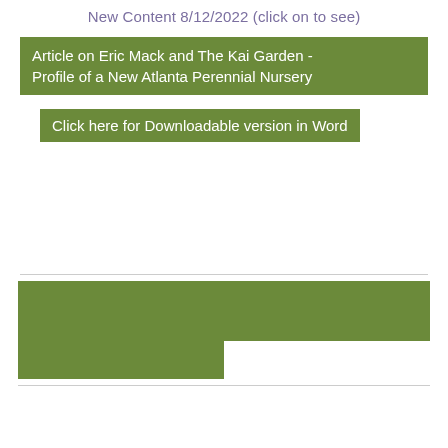New Content 8/12/2022 (click on to see)
Article on Eric Mack and The Kai Garden - Profile of a New Atlanta Perennial Nursery
Click here for Downloadable version in Word
[Figure (other): Green decorative bars forming a partial footer graphic]